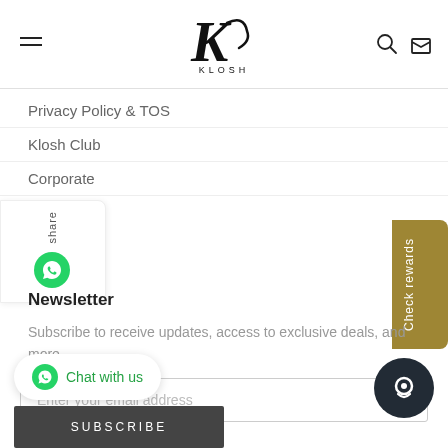[Figure (logo): Klosh brand logo with stylized K and text KLOSH below]
Privacy Policy & TOS
Klosh Club
Corporate
Newsletter
Subscribe to receive updates, access to exclusive deals, and more.
Enter your email address